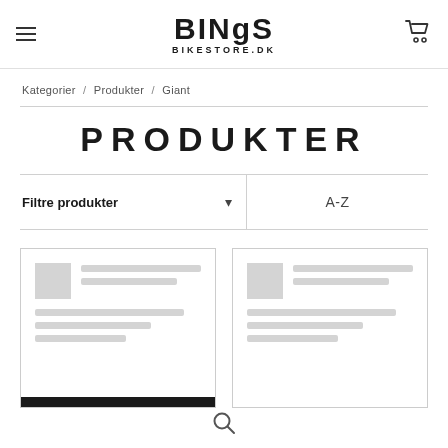BINGS BIKESTORE.DK
Kategorier / Produkter / Giant
PRODUKTER
Filtre produkter ▾   A-Z
[Figure (screenshot): Two product card placeholders with loading skeleton UI elements (thumbnail placeholder, text line placeholders, dark footer bar)]
[Figure (screenshot): Search icon (magnifying glass) at the bottom center of the page]